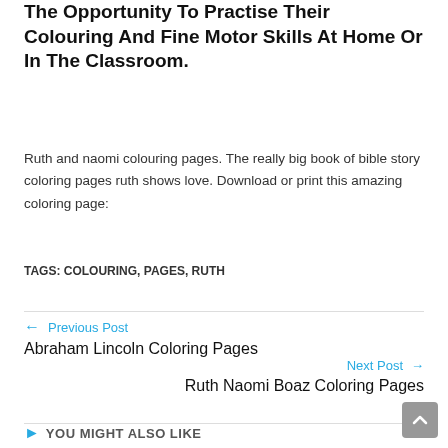The Opportunity To Practise Their Colouring And Fine Motor Skills At Home Or In The Classroom.
Ruth and naomi colouring pages. The really big book of bible story coloring pages ruth shows love. Download or print this amazing coloring page:
TAGS: COLOURING, PAGES, RUTH
← Previous Post
Abraham Lincoln Coloring Pages
Next Post →
Ruth Naomi Boaz Coloring Pages
▶ YOU MIGHT ALSO LIKE